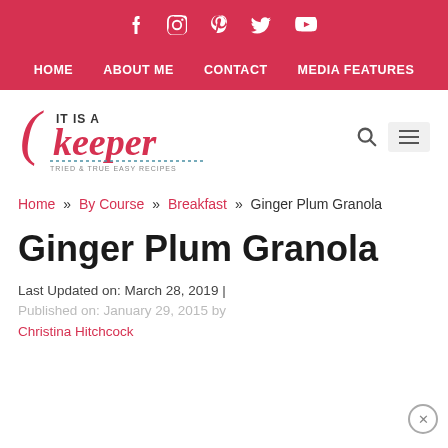Social icons: Facebook, Instagram, Pinterest, Twitter, YouTube
HOME  ABOUT ME  CONTACT  MEDIA FEATURES
[Figure (logo): It Is A Keeper logo — cursive 'keeper' in red with 'IT IS A' above and 'TRIED & TRUE EASY RECIPES' below]
Home » By Course » Breakfast » Ginger Plum Granola
Ginger Plum Granola
Last Updated on: March 28, 2019 | Published on: January 29, 2015 by Christina Hitchcock